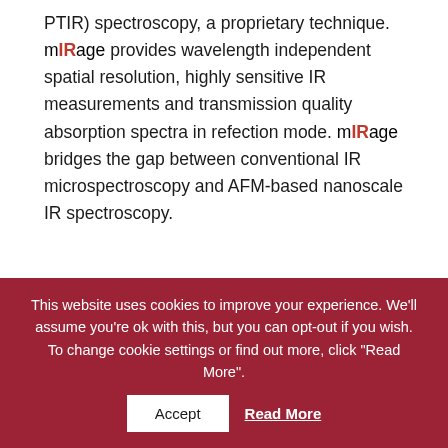PTIR) spectroscopy, a proprietary technique. mIRage provides wavelength independent spatial resolution, highly sensitive IR measurements and transmission quality absorption spectra in refection mode. mIRage bridges the gap between conventional IR microspectroscopy and AFM-based nanoscale IR spectroscopy.
This website uses cookies to improve your experience. We'll assume you're ok with this, but you can opt-out if you wish. To change cookie settings or find out more, click "Read More".